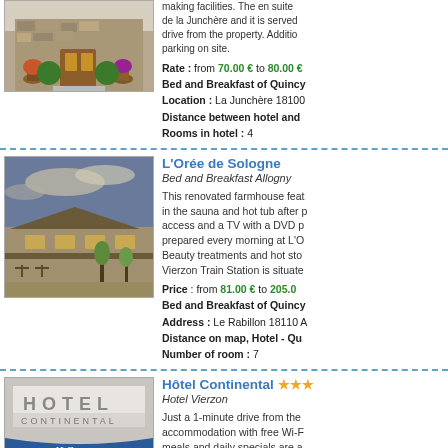[Figure (photo): Stone farmhouse exterior with flower pots and topiary at entrance]
making facilities. The en suite de la Junchère and it is served drive from the property. Additionally parking on site.
Rate : from 70.00 € to 80.00 €
Bed and Breakfast of Quincy
Location : La Junchère 18100
Distance between hotel and
Rooms in hotel : 4
[Figure (photo): L'Orée de Sologne farmhouse exterior at dusk with outdoor seating]
L'Orée de Sologne
Bed and Breakfast Allogny
This renovated farmhouse feat in the sauna and hot tub after p access and a TV with a DVD p prepared every morning at L'O Beauty treatments and hot sto Vierzon Train Station is situate
Price : from 81.00 € to 205.0
Bed and Breakfast of Quincy
Address : Le Rabillon 18110 A
Distance on map, Hotel - Qu
Number of room : 7
[Figure (photo): Hôtel Continental exterior with hotel sign and H.C. canopy]
Hôtel Continental ★★★
Hotel Vierzon
Just a 1-minute drive from the accommodation with free Wi-F meals and daily specials are a enjoy a drink from the on-site b Train Station is 1.7 km away. R